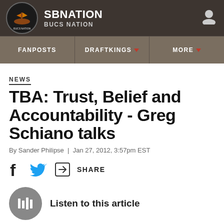[Figure (logo): SB Nation Bucs Nation logo with circular pirate ship emblem and site name header]
SBNATION BUCS NATION
FANPOSTS | DRAFTKINGS | MORE
NEWS
TBA: Trust, Belief and Accountability - Greg Schiano talks
By Sander Philipse | Jan 27, 2012, 3:57pm EST
SHARE
Listen to this article